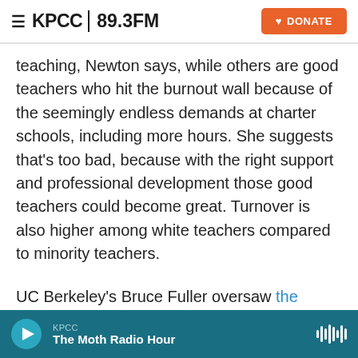≡ KPCC 89.3FM   [DONATE]
teaching, Newton says, while others are good teachers who hit the burnout wall because of the seemingly endless demands at charter schools, including more hours. She suggests that's too bad, because with the right support and professional development those good teachers could become great. Turnover is also higher among white teachers compared to minority teachers.
UC Berkeley's Bruce Fuller oversaw the research. "We have seen earlier results showing that working conditions are tough and challenging in charter schools," says Fuller. "Charter teachers wear many
KPCC — The Moth Radio Hour